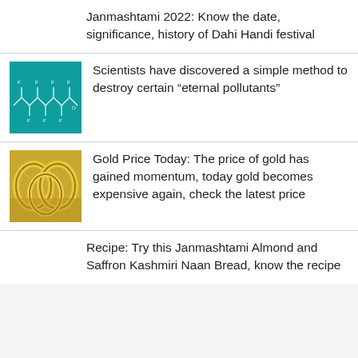Janmashtami 2022: Know the date, significance, history of Dahi Handi festival
[Figure (photo): Teal/green background with molecular structure diagram showing chemical bonds (PFAS/eternal pollutants)]
Scientists have discovered a simple method to destroy certain “eternal pollutants”
[Figure (photo): Close-up photo of gold bangles and jewellery stacked together]
Gold Price Today: The price of gold has gained momentum, today gold becomes expensive again, check the latest price
Recipe: Try this Janmashtami Almond and Saffron Kashmiri Naan Bread, know the recipe